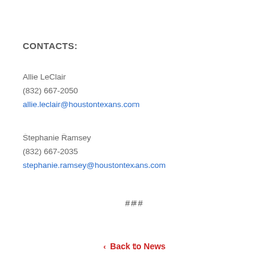CONTACTS:
Allie LeClair
(832) 667-2050
allie.leclair@houstontexans.com
Stephanie Ramsey
(832) 667-2035
stephanie.ramsey@houstontexans.com
###
< Back to News